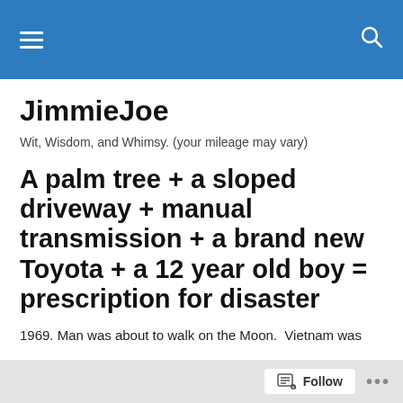JimmieJoe [navigation bar with hamburger menu and search icon]
JimmieJoe
Wit, Wisdom, and Whimsy. (your mileage may vary)
A palm tree + a sloped driveway + manual transmission + a brand new Toyota + a 12 year old boy = prescription for disaster
1969. Man was about to walk on the Moon.  Vietnam was
Follow ...